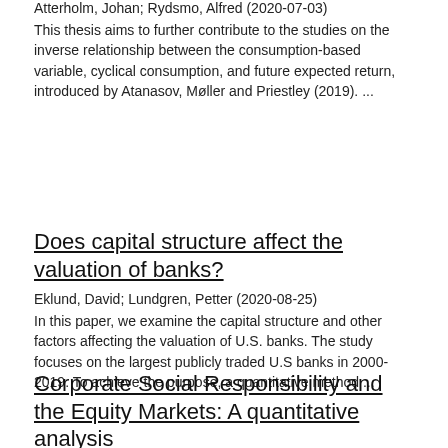Atterholm, Johan; Rydsmo, Alfred (2020-07-03)
This thesis aims to further contribute to the studies on the inverse relationship between the consumption-based variable, cyclical consumption, and future expected return, introduced by Atanasov, Møller and Priestley (2019). ...
Does capital structure affect the valuation of banks?
Eklund, David; Lundgren, Petter (2020-08-25)
In this paper, we examine the capital structure and other factors affecting the valuation of U.S. banks. The study focuses on the largest publicly traded U.S banks in 2000-2019. To achieve the purpose, a quantitative method ...
Corporate Social Responsibility and the Equity Markets: A quantitative analysis
Douhan, Olle; Nirbrant, Aron (2020-11-12)
The purpose of this thesis is to examine the relationship between Corporate Social Responsibility (CSR) disclosure and equity prices ...